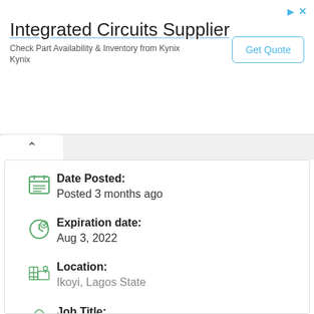[Figure (other): Advertisement banner for Integrated Circuits Supplier - Kynix, with Get Quote button]
Date Posted:
Posted 3 months ago
Expiration date:
Aug 3, 2022
Location:
Ikoyi, Lagos State
Job Title:
Business Development Associate (Oil and Gas) at NoemDek Limited
NoemDek Limited profile